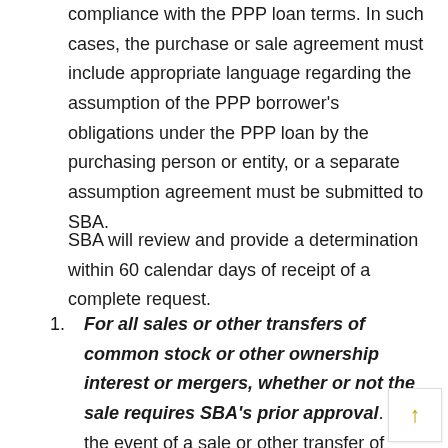compliance with the PPP loan terms. In such cases, the purchase or sale agreement must include appropriate language regarding the assumption of the PPP borrower's obligations under the PPP loan by the purchasing person or entity, or a separate assumption agreement must be submitted to SBA.
SBA will review and provide a determination within 60 calendar days of receipt of a complete request.
For all sales or other transfers of common stock or other ownership interest or mergers, whether or not the sale requires SBA's prior approval. In the event of a sale or other transfer of common stock or other ownership interest in the PPP borrower, or a